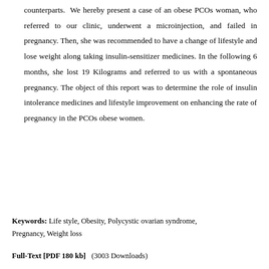counterparts.  We hereby present a case of an obese PCOs woman, who referred to our clinic, underwent a microinjection, and failed in pregnancy. Then, she was recommended to have a change of lifestyle and lose weight along taking insulin-sensitizer medicines. In the following 6 months, she lost 19 Kilograms and referred to us with a spontaneous pregnancy. The object of this report was to determine the role of insulin intolerance medicines and lifestyle improvement on enhancing the rate of pregnancy in the PCOs obese women.
Keywords: Life style, Obesity, Polycystic ovarian syndrome, Pregnancy, Weight loss
Full-Text [PDF 180 kb]   (3003 Downloads)